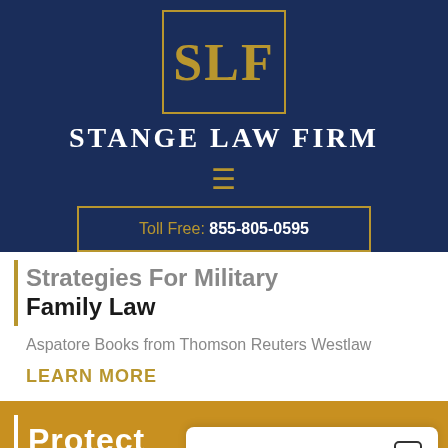[Figure (logo): Stange Law Firm logo with SLF letters in gold on navy blue background with gold border]
STANGE LAW FIRM
≡ (hamburger menu icon)
Toll Free: 855-805-0595
Strategies For Military Family Law
Aspatore Books from Thomson Reuters Westlaw
LEARN MORE
Protect
Chat now